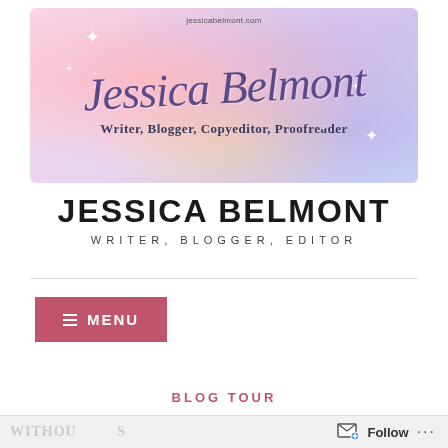[Figure (illustration): Decorative banner header with watercolor pastel background (pink, purple, yellow, lavender). Contains script/cursive text reading 'Jessica Belmont', subtitle 'Writer, Blogger, Copyeditor, Proofreader', URL 'jessicabelmont.com', and sparkle decorations.]
JESSICA BELMONT
WRITER, BLOGGER, EDITOR
≡ MENU
BLOG TOUR
Follow ...